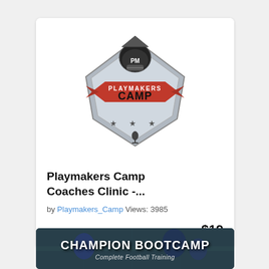[Figure (logo): Playmakers Camp logo — shield/crest shape with football helmet at top, red banner reading PLAYMAKERS CAMP in the middle, stars on a silver diamond shape]
Playmakers Camp Coaches Clinic -...
by Playmakers_Camp Views: 3985
$19
[Figure (photo): Champion Bootcamp – Complete Football Training banner image showing football players on field with blue-tinted overlay and white bold text reading CHAMPION BOOTCAMP and subtitle Complete Football Training]